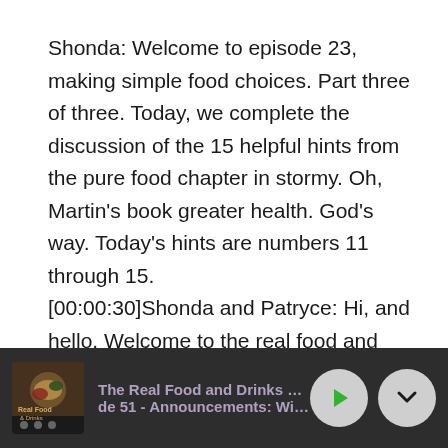Shonda: Welcome to episode 23, making simple food choices. Part three of three. Today, we complete the discussion of the 15 helpful hints from the pure food chapter in stormy. Oh, Martin's book greater health. God's way. Today's hints are numbers 11 through 15. [00:00:30]Shonda and Patryce: Hi, and hello. Welcome to the real food and drinks, lifestyle podcast. We're building a community to talk about nutrition,
The Real Food and Drinks Lifestyle | de 51 - Announcements: Winners ar